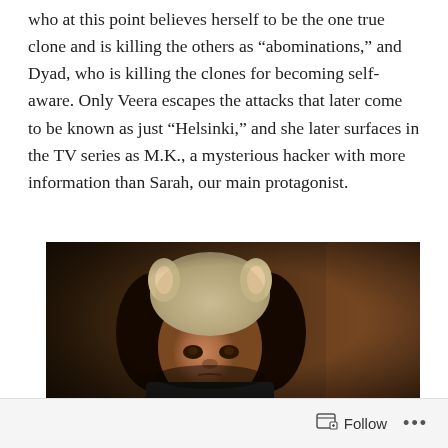who at this point believes herself to be the one true clone and is killing the others as “abominations,” and Dyad, who is killing the clones for becoming self-aware. Only Veera escapes the attacks that later come to be known as just “Helsinki,” and she later surfaces in the TV series as M.K., a mysterious hacker with more information than Sarah, our main protagonist.
[Figure (photo): A young woman with dark curly hair wearing a stuffed animal hat (resembling a sheep or lamb) looks seriously at the camera in a dimly lit, warm-toned scene.]
Follow ...